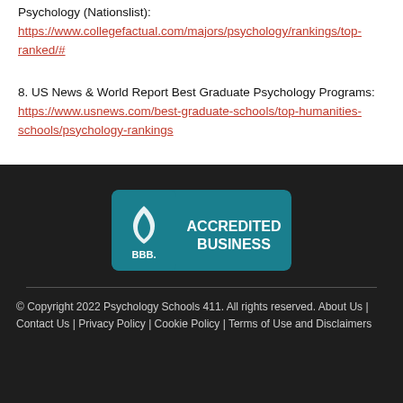Psychology (Nationslist): https://www.collegefactual.com/majors/psychology/rankings/top-ranked/#
8. US News & World Report Best Graduate Psychology Programs: https://www.usnews.com/best-graduate-schools/top-humanities-schools/psychology-rankings
[Figure (logo): BBB Accredited Business badge — teal background with BBB flame logo on left and 'ACCREDITED BUSINESS' text on right]
© Copyright 2022 Psychology Schools 411. All rights reserved. About Us | Contact Us | Privacy Policy | Cookie Policy | Terms of Use and Disclaimers